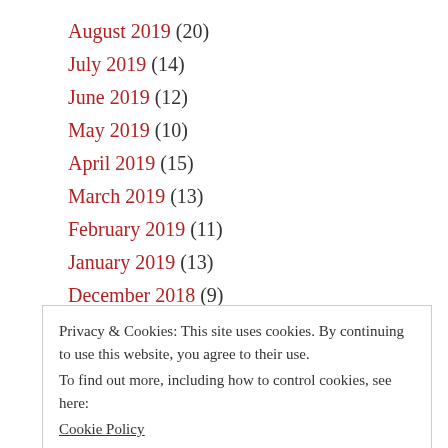August 2019 (20)
July 2019 (14)
June 2019 (12)
May 2019 (10)
April 2019 (15)
March 2019 (13)
February 2019 (11)
January 2019 (13)
December 2018 (9)
Privacy & Cookies: This site uses cookies. By continuing to use this website, you agree to their use.
To find out more, including how to control cookies, see here:
Cookie Policy
July 2018 (7)